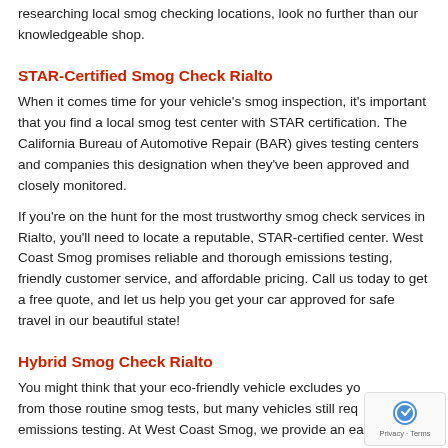researching local smog checking locations, look no further than our knowledgeable shop.
STAR-Certified Smog Check Rialto
When it comes time for your vehicle's smog inspection, it's important that you find a local smog test center with STAR certification. The California Bureau of Automotive Repair (BAR) gives testing centers and companies this designation when they've been approved and closely monitored.
If you're on the hunt for the most trustworthy smog check services in Rialto, you'll need to locate a reputable, STAR-certified center. West Coast Smog promises reliable and thorough emissions testing, friendly customer service, and affordable pricing. Call us today to get a free quote, and let us help you get your car approved for safe travel in our beautiful state!
Hybrid Smog Check Rialto
You might think that your eco-friendly vehicle excludes you from those routine smog tests, but many vehicles still require emissions testing. At West Coast Smog, we provide an easy and quick hybrid smog test, so you can rest assured that your